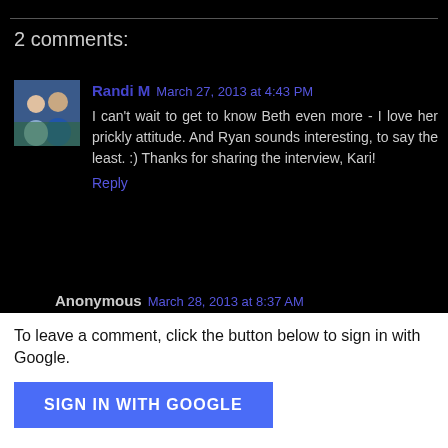2 comments:
Randi M March 27, 2013 at 4:43 PM
I can't wait to get to know Beth even more - I love her prickly attitude. And Ryan sounds interesting, to say the least. :) Thanks for sharing the interview, Kari!
Reply
Anonymous March 28, 2013 at 8:37 AM
I got this from netgalley and thought it was AMAZING! xx
Reply
To leave a comment, click the button below to sign in with Google.
SIGN IN WITH GOOGLE